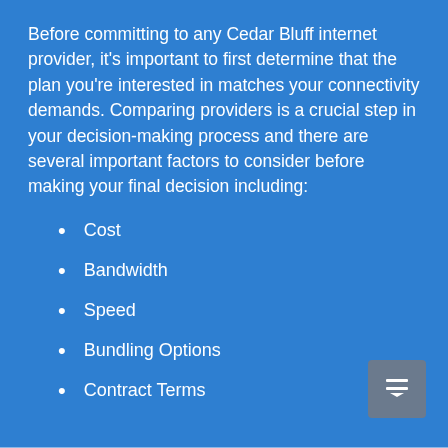Before committing to any Cedar Bluff internet provider, it's important to first determine that the plan you're interested in matches your connectivity demands. Comparing providers is a crucial step in your decision-making process and there are several important factors to consider before making your final decision including:
Cost
Bandwidth
Speed
Bundling Options
Contract Terms